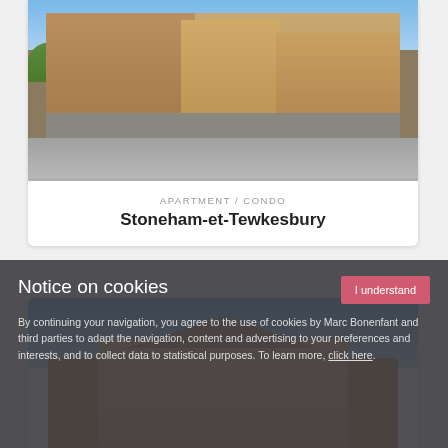[Figure (photo): Exterior photo of a multi-story apartment/condo building with wood and stone facade, parked cars in foreground, trees in background]
APARTMENT / CONDO
Stoneham-et-Tewkesbury
[Figure (photo): Partial exterior photo of another apartment building with light-colored facade and peaked roofline]
Notice on cookies
By continuing your navigation, you agree to the use of cookies by Marc Bonenfant and third parties to adapt the navigation, content and advertising to your preferences and interests, and to collect data to statistical purposes. To learn more, click here.